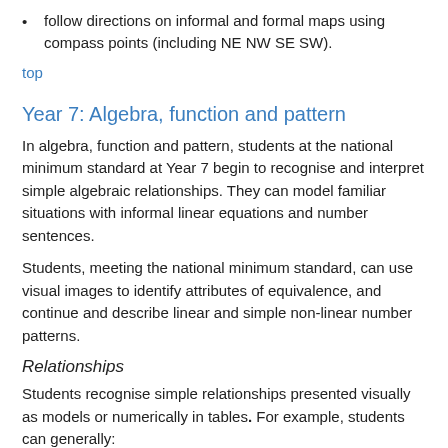follow directions on informal and formal maps using compass points (including NE NW SE SW).
top
Year 7: Algebra, function and pattern
In algebra, function and pattern, students at the national minimum standard at Year 7 begin to recognise and interpret simple algebraic relationships. They can model familiar situations with informal linear equations and number sentences.
Students, meeting the national minimum standard, can use visual images to identify attributes of equivalence, and continue and describe linear and simple non-linear number patterns.
Relationships
Students recognise simple relationships presented visually as models or numerically in tables. For example, students can generally:
recognise and extend a linear relationship in a practical context
construct and interpret tables and graphs of simple functions